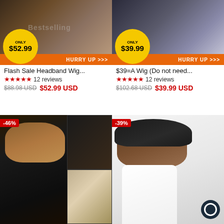[Figure (photo): Flash Sale Headband Wig product promotional image with 'ONLY $52.99' badge and 'HURRY UP >>>' orange banner]
Flash Sale Headband Wig...
★★★★★ 12 reviews
$88.98 USD  $52.99 USD
[Figure (photo): $39=A Wig product promotional image with 'ONLY $39.99' badge and 'HURRY UP >>>' orange banner]
$39=A Wig (Do not need...
★★★★★ 12 reviews
$102.68 USD  $39.99 USD
[Figure (photo): Curly headband wig product image with -46% discount badge]
[Figure (photo): Bob wig product image with -39% discount badge and chat icon]